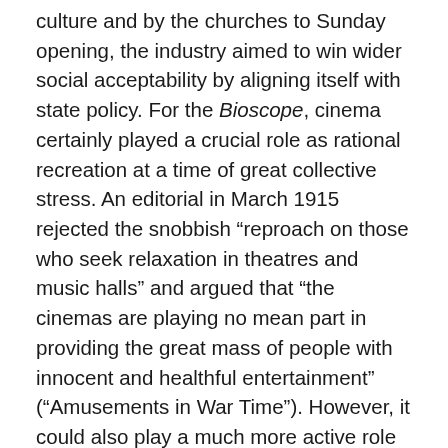culture and by the churches to Sunday opening, the industry aimed to win wider social acceptability by aligning itself with state policy. For the Bioscope, cinema certainly played a crucial role as rational recreation at a time of great collective stress. An editorial in March 1915 rejected the snobbish “reproach on those who seek relaxation in theatres and music halls” and argued that “the cinemas are playing no mean part in providing the great mass of people with innocent and healthful entertainment” (“Amusements in War Time”). However, it could also play a much more active role in shaping public opinion in support of the war, a point that the trade papers had argued from an early point in the war. In September 1914, for example, the Bioscope had praised the views of Liberal politician Sir Henry Norman, who in a letter to the London Times had emphasized the role that battlefield reporting could play in support of recruiting and arousing enthusiasm for the war.